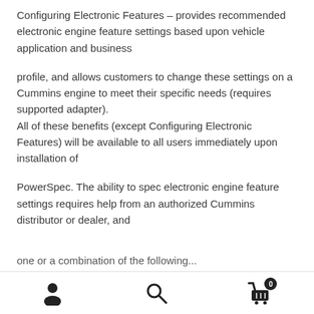Configuring Electronic Features – provides recommended electronic engine feature settings based upon vehicle application and business
profile, and allows customers to change these settings on a Cummins engine to meet their specific needs (requires supported adapter).
All of these benefits (except Configuring Electronic Features) will be available to all users immediately upon installation of
PowerSpec. The ability to spec electronic engine feature settings requires help from an authorized Cummins distributor or dealer, and
one or a combination of the following...
[Figure (other): Bottom navigation bar with person/account icon, search icon, and shopping cart icon with badge showing 0]